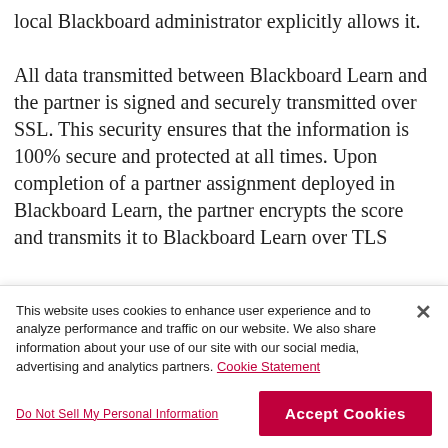local Blackboard administrator explicitly allows it.

All data transmitted between Blackboard Learn and the partner is signed and securely transmitted over SSL. This security ensures that the information is 100% secure and protected at all times. Upon completion of a partner assignment deployed in Blackboard Learn, the partner encrypts the score and transmits it to Blackboard Learn over TLS
This website uses cookies to enhance user experience and to analyze performance and traffic on our website. We also share information about your use of our site with our social media, advertising and analytics partners. Cookie Statement
Do Not Sell My Personal Information
Accept Cookies